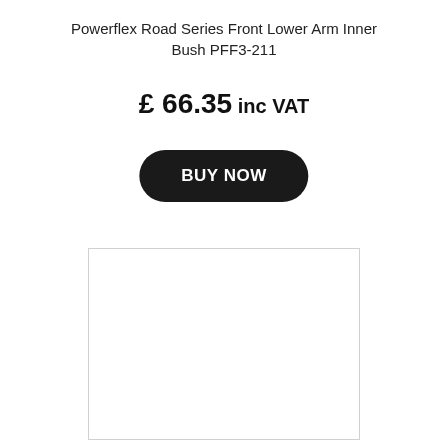Powerflex Road Series Front Lower Arm Inner Bush PFF3-211
£ 66.35 inc VAT
[Figure (other): BUY NOW button — black pill-shaped button with white bold text]
[Figure (other): Empty white image placeholder box with light grey border]